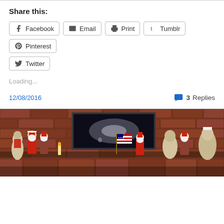Share this:
Facebook  Email  Print  Tumblr  Pinterest  Twitter
Loading...
12/08/2016
3 Replies
[Figure (photo): Photo of a fireplace mantel decorated with Santa Claus figurines, Christmas decorations, an American flag, and a framed picture, set against a brick wall background.]